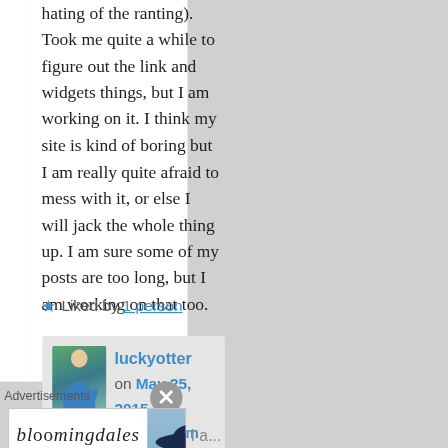hating of the ranting). Took me quite a while to figure out the link and widgets things, but I am working on it. I think my site is kind of boring but I am really quite afraid to mess with it, or else I will jack the whole thing up. I am sure some of my posts are too long, but I am working on that too.
★ Liked by 1 person
luckyotter on May 25, 2015 at 11:38 pm said:
Advertisements
[Figure (other): Bloomingdale's advertisement banner: 'bloomingdales View Today's Top Deals!' with a woman in a wide-brimmed hat and a 'SHOP NOW >' button]